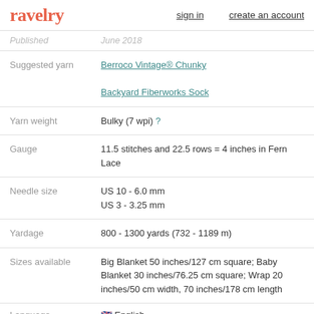ravelry  sign in  create an account
| Field | Value |
| --- | --- |
| Published | June 2018 |
| Suggested yarn | Berroco Vintage® Chunky
Backyard Fiberworks Sock |
| Yarn weight | Bulky (7 wpi) ? |
| Gauge | 11.5 stitches and 22.5 rows = 4 inches in Fern Lace |
| Needle size | US 10 - 6.0 mm
US 3 - 3.25 mm |
| Yardage | 800 - 1300 yards (732 - 1189 m) |
| Sizes available | Big Blanket 50 inches/127 cm square; Baby Blanket 30 inches/76.25 cm square; Wrap 20 inches/50 cm width, 70 inches/178 cm length |